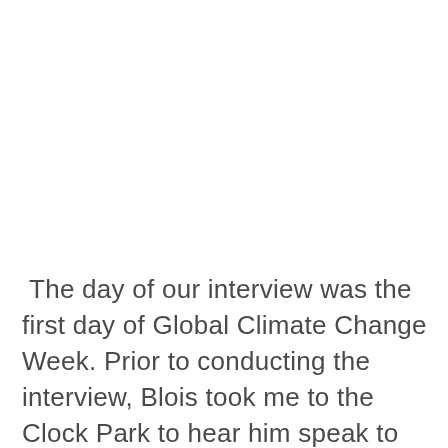The day of our interview was the first day of Global Climate Change Week. Prior to conducting the interview, Blois took me to the Clock Park to hear him speak to Lily-Beth, a young student plagued by the Climate Crisis.